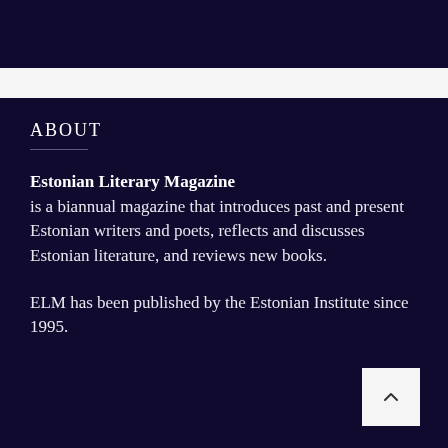ABOUT
Estonian Literary Magazine is a biannual magazine that introduces past and present Estonian writers and poets, reflects and discusses Estonian literature, and reviews new books.

ELM has been published by the Estonian Institute since 1995.